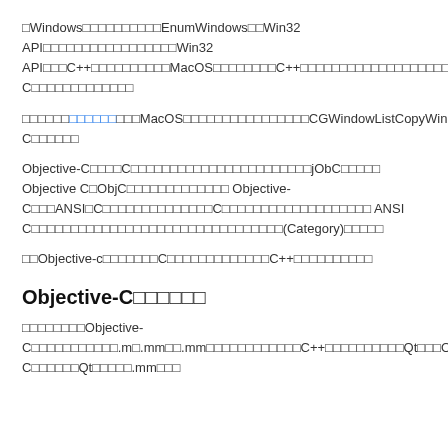□Windows□□□□□□□□□□EnumWindows□□Win32 API□□□□□□□□□□□□□□□□□Win32 API□□□C++□□□□□□□□□□MacOS□□□□□□□□C++□□□□□□□□□□□□□□□□□□□□□□□□Apple□Objective-C□□□□□□□□□□□□□
□□□□□□□□□□□□MacOS□□□□□□□□□□□□□□□□CGWindowListCopyWindowInfo□□□□□□□□□□□□□□□□□□□□□□Qt□Objective-C□□□□□□
Objective-C□□□□C□□□□□□□□□□□□□□□□□□□□□□□jObC□□□□□ Objective C□ObjC□□□□□□□□□□□□□ Objective-C□□□ANSI□C□□□□□□□□□□□□□□C□□□□□□□□□□□□□□□□□□□ ANSI C□□□□□□□□□□□□□□□□□□□□□□□□□□□□□□□□(Category)□□□□□
□□Objective-c□□□□□□□C□□□□□□□□□□□□□C++□□□□□□□□□□
Objective-C□□□□□□
□□□□□□□□Objective-C□□□□□□□□□□□.m□.mm□□.mm□□□□□□□□□□□□C++□□□□□□□□□□□Qt□□□Objective-C□□□□□□□Qt□□□□□.mm□□□